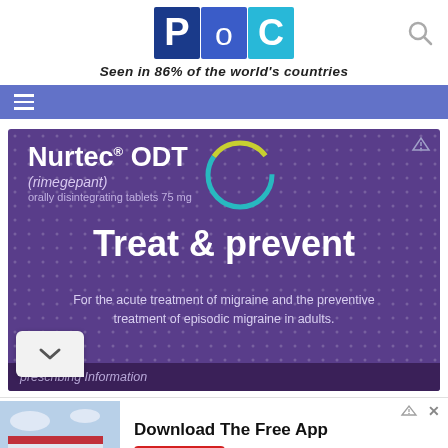[Figure (logo): PoC website logo — blue and teal square tiles with letters P, o, C in white]
Seen in 86% of the world's countries
Navigation bar with hamburger menu icon
[Figure (infographic): Nurtec ODT (rimegepant) orally disintegrating tablets 75 mg advertisement on purple background. Text: Treat & prevent. For the acute treatment of migraine and the preventive treatment of episodic migraine in adults.]
prescribing Information
[Figure (photo): Firestone store exterior photo advertisement. Text: Download The Free App with a red Download button.]
Firestone